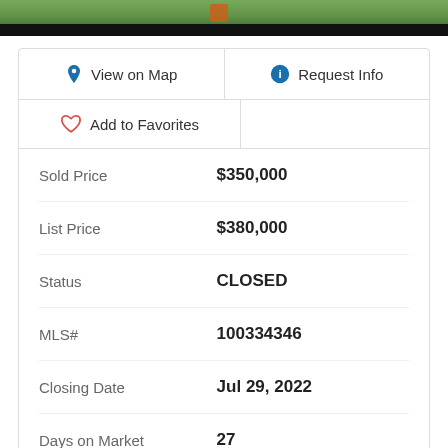[Figure (photo): Partial view of a property photo at the top of the listing page, showing green foliage and outdoor scenery with a dark banner overlay at bottom.]
View on Map
Request Info
Add to Favorites
| Field | Value |
| --- | --- |
| Sold Price | $350,000 |
| List Price | $380,000 |
| Status | CLOSED |
| MLS# | 100334346 |
| Closing Date | Jul 29, 2022 |
| Days on Market | 27 |
| Year Built | 2000 |